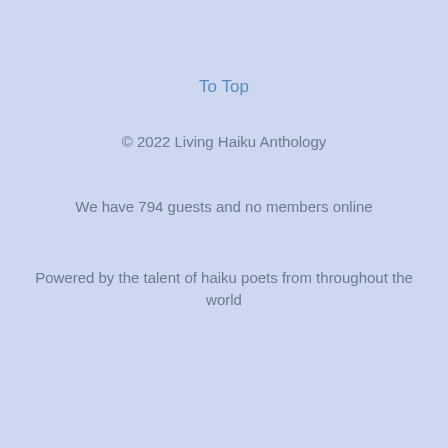To Top
© 2022 Living Haiku Anthology
We have 794 guests and no members online
Powered by the talent of haiku poets from throughout the world